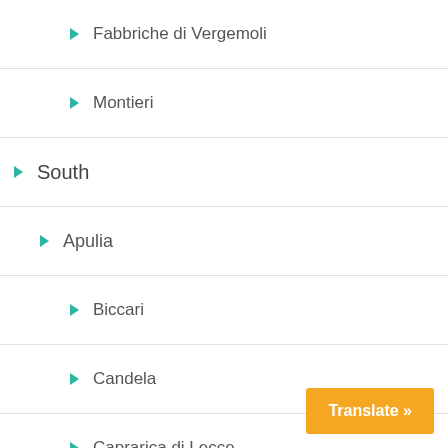Fabbriche di Vergemoli
Montieri
South
Apulia
Biccari
Candela
Caprarica di Lecce
Taranto
Basilicata
Acerenza
Chiaromonte
Laurenzana